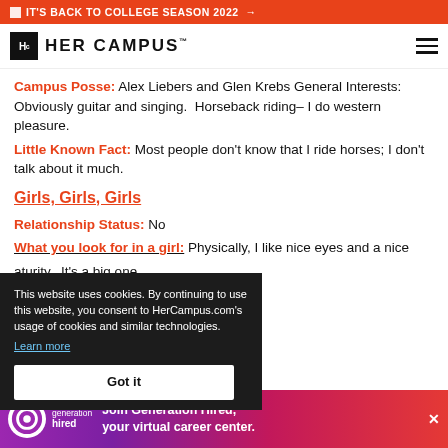🔲 IT'S BACK TO COLLEGE SEASON 2022 →
[Figure (logo): Her Campus logo with Hc icon and hamburger menu]
Campus Posse: Alex Liebers and Glen Krebs General Interests: Obviously guitar and singing. Horseback riding– I do western pleasure.
Little Known Fact: Most people don't know that I ride horses; I don't talk about it much.
Girls, Girls, Girls
Relationship Status: No
What you look for in a girl: Physically, I like nice eyes and a nice ...aturity. It's a big one. ...ir hands dirty. Someone that ...nest.
...orities much. We'll go with
[Figure (screenshot): Cookie consent overlay: 'This website uses cookies. By continuing to use this website, you consent to HerCampus.com's usage of cookies and similar technologies. Learn more' with Got it button]
[Figure (infographic): Generation Hired advertisement banner: Join Generation Hired, your virtual career center.]